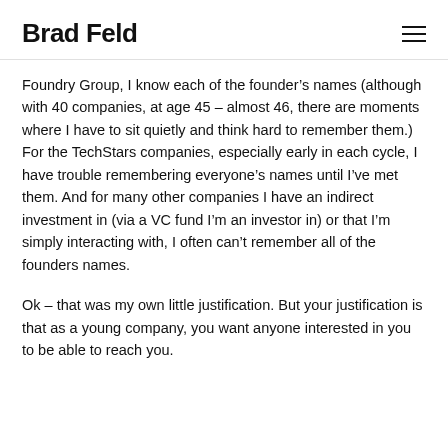Brad Feld
Foundry Group, I know each of the founder’s names (although with 40 companies, at age 45 – almost 46, there are moments where I have to sit quietly and think hard to remember them.) For the TechStars companies, especially early in each cycle, I have trouble remembering everyone’s names until I’ve met them. And for many other companies I have an indirect investment in (via a VC fund I’m an investor in) or that I’m simply interacting with, I often can’t remember all of the founders names.
Ok – that was my own little justification. But your justification is that as a young company, you want anyone interested in you to be able to reach you.